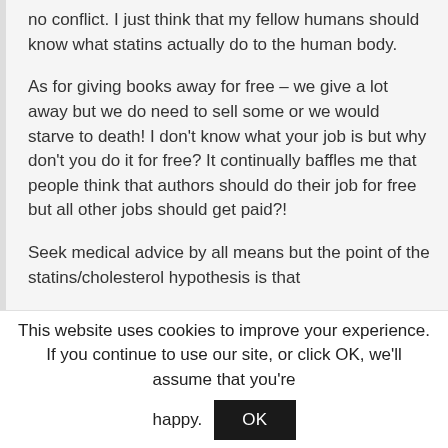no conflict. I just think that my fellow humans should know what statins actually do to the human body.
As for giving books away for free – we give a lot away but we do need to sell some or we would starve to death! I don't know what your job is but why don't you do it for free? It continually baffles me that people think that authors should do their job for free but all other jobs should get paid?!
Seek medical advice by all means but the point of the statins/cholesterol hypothesis is that
This website uses cookies to improve your experience. If you continue to use our site, or click OK, we'll assume that you're happy. OK